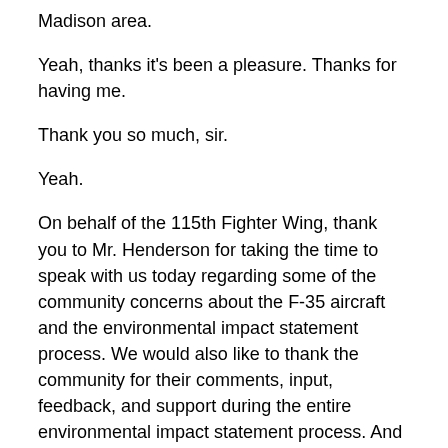Madison area.
Yeah, thanks it's been a pleasure. Thanks for having me.
Thank you so much, sir.
Yeah.
On behalf of the 115th Fighter Wing, thank you to Mr. Henderson for taking the time to speak with us today regarding some of the community concerns about the F-35 aircraft and the environmental impact statement process. We would also like to thank the community for their comments, input, feedback, and support during the entire environmental impact statement process. And we look forward to the Secretary of the Air Force's final decision in the spring of 2020.
Share with Friends: